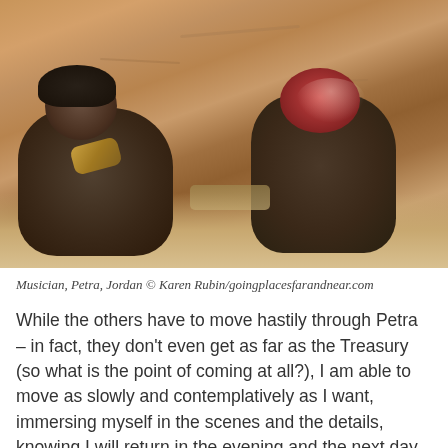[Figure (photo): Two men sitting against a sandy/adobe wall. The man on the left wears dark clothing and a dark head covering, holding prayer beads. The man on the right wears a red and white keffiyeh headdress and dark clothing, holding something small. Sandy desert floor beneath them. Warm ochre/amber tones throughout.]
Musician, Petra, Jordan © Karen Rubin/goingplacesfarandnear.com
While the others have to move hastily through Petra – in fact, they don't even get as far as the Treasury (so what is the point of coming at all?), I am able to move as slowly and contemplatively as I want, immersing myself in the scenes and the details, knowing I will return in the evening and the next day.
[Figure (photo): Partial bottom photo showing dark warm-toned scene, likely another image from Petra, Jordan. Colors are deep browns, ochres and dark shadows.]